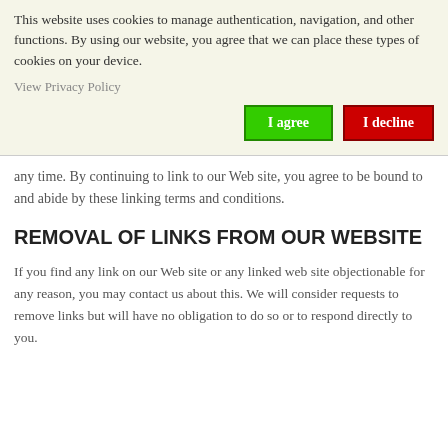This website uses cookies to manage authentication, navigation, and other functions. By using our website, you agree that we can place these types of cookies on your device.
View Privacy Policy
I agree
I decline
any time. By continuing to link to our Web site, you agree to be bound to and abide by these linking terms and conditions.
REMOVAL OF LINKS FROM OUR WEBSITE
If you find any link on our Web site or any linked web site objectionable for any reason, you may contact us about this. We will consider requests to remove links but will have no obligation to do so or to respond directly to you.